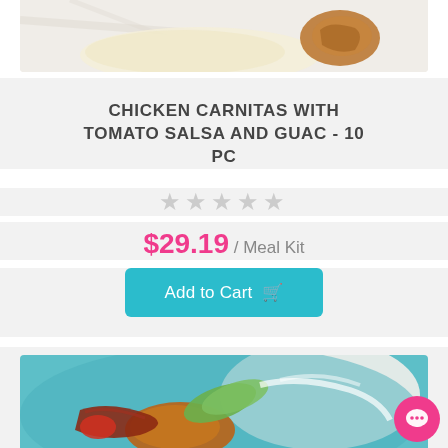[Figure (photo): Partial view of chicken carnitas taco on white marble background, showing tortilla and grilled chicken]
CHICKEN CARNITAS WITH TOMATO SALSA AND GUAC - 10 pc
★★★★★ (star rating, all empty/gray)
$29.19 / Meal Kit
Add to Cart
[Figure (photo): Fried chicken with bacon, avocado slices, tomato on a teal/turquoise plate with white sauce, food product photo]